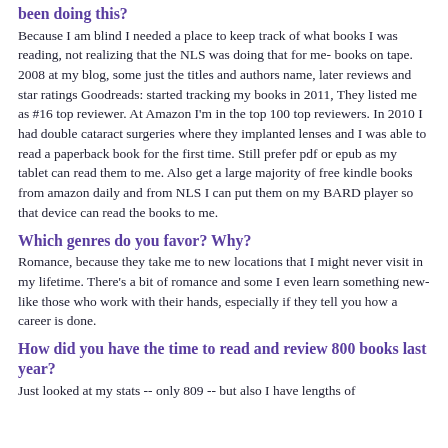been doing this?
Because I am blind I needed a place to keep track of what books I was reading, not realizing that the NLS was doing that for me- books on tape.  2008 at my blog, some just the titles and authors name, later reviews and star ratings  Goodreads:  started tracking my books in 2011, They listed me as #16 top reviewer. At Amazon I'm in the top 100 top reviewers. In 2010 I had double cataract surgeries where they implanted lenses and I was able to read a paperback book for the first time. Still prefer pdf or epub as my tablet can read them to me. Also get a large majority of free kindle books from amazon daily and from NLS I can put them on my BARD player so that device can read the books to me.
Which genres do you favor? Why?
Romance, because they take me to new locations that I might never visit in my lifetime. There's a bit of romance and some I even learn something new-like those who work with their hands, especially if they tell you how a career is done.
How did you have the time to read and review 800 books last year?
Just looked at my stats -- only 809 -- but also I have lengths of